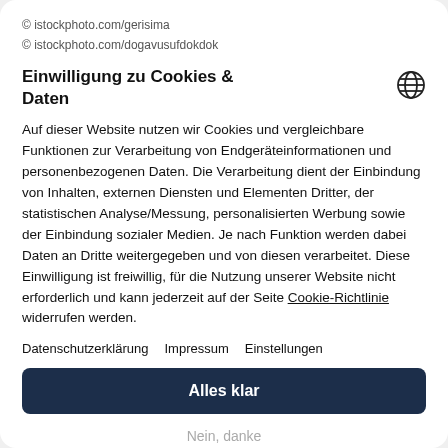© istockphoto.com/gerisima
© istockphoto.com/dogavusufdokdok
Einwilligung zu Cookies & Daten
Auf dieser Website nutzen wir Cookies und vergleichbare Funktionen zur Verarbeitung von Endgeräteinformationen und personenbezogenen Daten. Die Verarbeitung dient der Einbindung von Inhalten, externen Diensten und Elementen Dritter, der statistischen Analyse/Messung, personalisierten Werbung sowie der Einbindung sozialer Medien. Je nach Funktion werden dabei Daten an Dritte weitergegeben und von diesen verarbeitet. Diese Einwilligung ist freiwillig, für die Nutzung unserer Website nicht erforderlich und kann jederzeit auf der Seite Cookie-Richtlinie widerrufen werden.
Datenschutzerklärung
Impressum
Einstellungen
Alles klar
Nein, danke